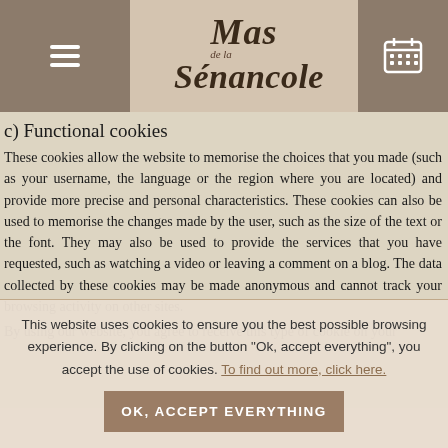[Navigation header with menu icon, Mas de la Sénancole logo, and calendar icon]
c) Functional cookies
These cookies allow the website to memorise the choices that you made (such as your username, the language or the region where you are located) and provide more precise and personal characteristics. These cookies can also be used to memorise the changes made by the user, such as the size of the text or the font. They may also be used to provide the services that you have requested, such as watching a video or leaving a comment on a blog. The data collected by these cookies may be made anonymous and cannot track your browsing activity on other sites.
By using our website, you agree to receive this type of cookie on your
This website uses cookies to ensure you the best possible browsing experience. By clicking on the button "Ok, accept everything", you accept the use of cookies. To find out more, click here.
OK, ACCEPT EVERYTHING